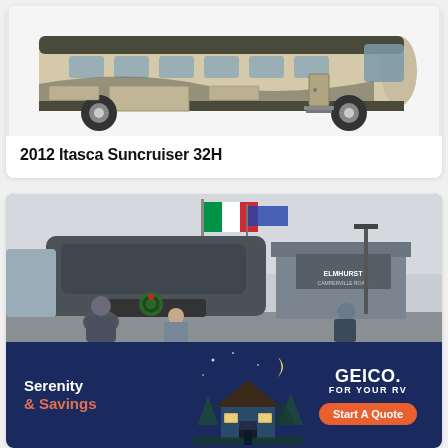[Figure (photo): Side profile illustration of a 2012 Itasca Suncruiser 32H motorhome RV, tan and brown with swooping graphic design on the side, shown on white background]
2012 Itasca Suncruiser 32H
[Figure (photo): Outdoor photo of a large motorhome at an RV dealership (Elmhurst), people looking at the RV, Italian flag flying above, Christmas wreath on front of RV, overcast winter day]
[Figure (infographic): GEICO insurance advertisement banner. Dark navy background with illustrated night scene of a cabin/house. Left side says 'Serenity & Savings' in white and orange text. Right side shows GEICO logo with 'FOR YOUR RV' and an orange 'Start A Quote' button.]